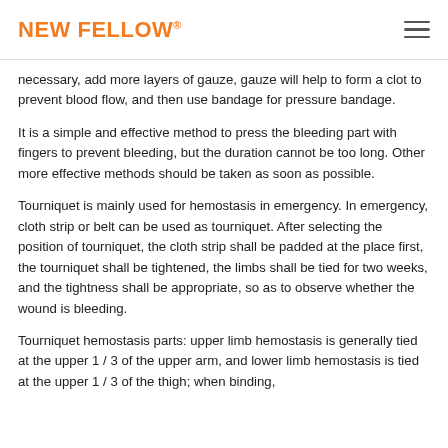NEW FELLOW®
necessary, add more layers of gauze, gauze will help to form a clot to prevent blood flow, and then use bandage for pressure bandage.
It is a simple and effective method to press the bleeding part with fingers to prevent bleeding, but the duration cannot be too long. Other more effective methods should be taken as soon as possible.
Tourniquet is mainly used for hemostasis in emergency. In emergency, cloth strip or belt can be used as tourniquet. After selecting the position of tourniquet, the cloth strip shall be padded at the place first, the tourniquet shall be tightened, the limbs shall be tied for two weeks, and the tightness shall be appropriate, so as to observe whether the wound is bleeding.
Tourniquet hemostasis parts: upper limb hemostasis is generally tied at the upper 1 / 3 of the upper arm, and lower limb hemostasis is tied at the upper 1 / 3 of the thigh; when binding,